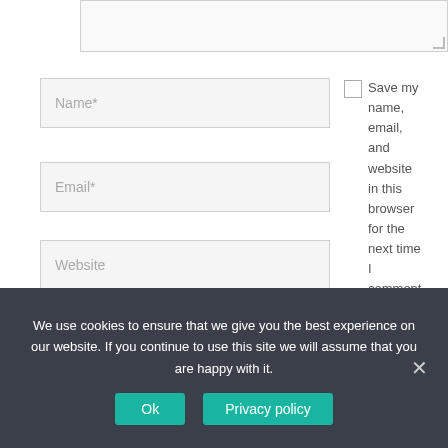[Figure (screenshot): Textarea input box (comment field) at top, partially visible with resize handle]
Name*
Email*
Website
Save my name, email, and website in this browser for the next time I comment.
Post Comment »
We use cookies to ensure that we give you the best experience on our website. If you continue to use this site we will assume that you are happy with it.
Ok
Privacy policy